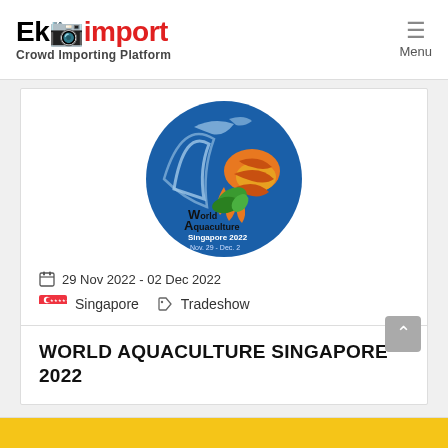Ekimport — Crowd Importing Platform | Menu
[Figure (logo): World Aquaculture Singapore 2022 circular logo — blue wave with dolphin, colorful shrimp graphic, text: World Aquaculture Singapore 2022 Nov. 29 - Dec. 2]
29 Nov 2022 - 02 Dec 2022
Singapore   Tradeshow
WORLD AQUACULTURE SINGAPORE 2022